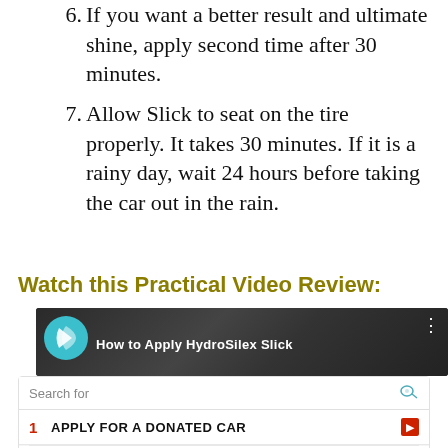6. If you want a better result and ultimate shine, apply second time after 30 minutes.
7. Allow Slick to seat on the tire properly. It takes 30 minutes. If it is a rainy day, wait 24 hours before taking the car out in the rain.
Watch this Practical Video Review:
[Figure (screenshot): Video thumbnail showing 'How to Apply HydroSilex Slick' with a teal logo on dark background, overlaid with an ad search widget showing search results for 'APPLY FOR A DONATED CAR' and 'CUSTOM FIT SEAT COVERS' from Business Focus.]